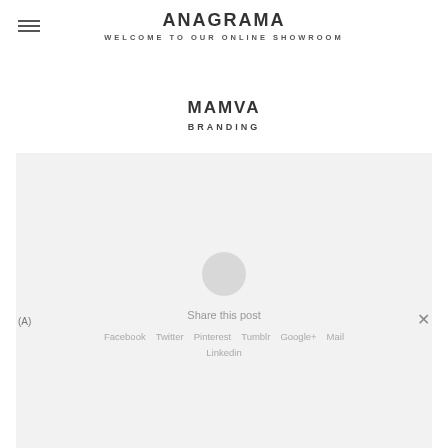ANAGRAMA
WELCOME TO OUR ONLINE SHOWROOM
MAMVA
BRANDING
[Figure (photo): Light grey placeholder image area with a small grey circle in the center]
(A)
Share this post
Facebook  Twitter  Pinterest  Tumblr  Google+  Mail
Linkedin
[Figure (photo): Light grey placeholder image area at bottom of page]